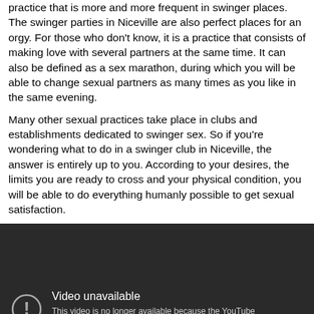practice that is more and more frequent in swinger places. The swinger parties in Niceville are also perfect places for an orgy. For those who don't know, it is a practice that consists of making love with several partners at the same time. It can also be defined as a sex marathon, during which you will be able to change sexual partners as many times as you like in the same evening.
Many other sexual practices take place in clubs and establishments dedicated to swinger sex. So if you're wondering what to do in a swinger club in Niceville, the answer is entirely up to you. According to your desires, the limits you are ready to cross and your physical condition, you will be able to do everything humanly possible to get sexual satisfaction.
[Figure (screenshot): YouTube video unavailable message on dark background. Shows exclamation mark icon in a circle, 'Video unavailable' title, and message: 'This video is no longer available because the YouTube account associated with this video has been terminated.']